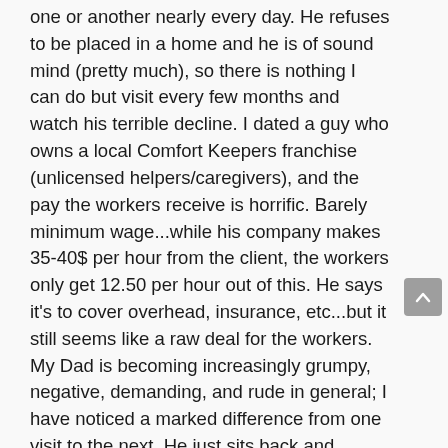one or another nearly every day. He refuses to be placed in a home and he is of sound mind (pretty much), so there is nothing I can do but visit every few months and watch his terrible decline. I dated a guy who owns a local Comfort Keepers franchise (unlicensed helpers/caregivers), and the pay the workers receive is horrific. Barely minimum wage...while his company makes 35-40$ per hour from the client, the workers only get 12.50 per hour out of this. He says it's to cover overhead, insurance, etc...but it still seems like a raw deal for the workers. My Dad is becoming increasingly grumpy, negative, demanding, and rude in general; I have noticed a marked difference from one visit to the next. He just sits back and orders people around and barely gives a Thank You or any appreciation. Thank God I'm not living with him and he can afford to pay two of the workers out of pocket per